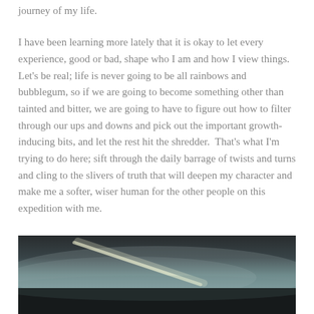journey of my life.
I have been learning more lately that it is okay to let every experience, good or bad, shape who I am and how I view things.  Let's be real; life is never going to be all rainbows and bubblegum, so if we are going to become something other than tainted and bitter, we are going to have to figure out how to filter through our ups and downs and pick out the important growth-inducing bits, and let the rest hit the shredder.  That's what I'm trying to do here; sift through the daily barrage of twists and turns and cling to the slivers of truth that will deepen my character and make me a softer, wiser human for the other people on this expedition with me.
[Figure (photo): Dark atmospheric outdoor photo, appears to show a misty or cloudy sky with subtle light tones, landscape scene]